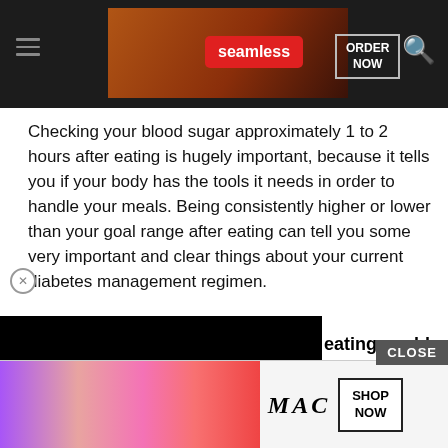[Figure (screenshot): Seamless food delivery advertisement banner with pizza image, red Seamless logo badge, and 'ORDER NOW' button on dark background]
Checking your blood sugar approximately 1 to 2 hours after eating is hugely important, because it tells you if your body has the tools it needs in order to handle your meals. Being consistently higher or lower than your goal range after eating can tell you some very important and clear things about your current diabetes management regimen.
2 hours after eating could
[Figure (screenshot): Black overlay/video block partially covering content]
What you ate or drank at your last meal was more than your body could handle on your current diabetes management regimen.
You may need more insulin before meals
[Figure (screenshot): MAC cosmetics advertisement banner with lipsticks and SHOP NOW button]